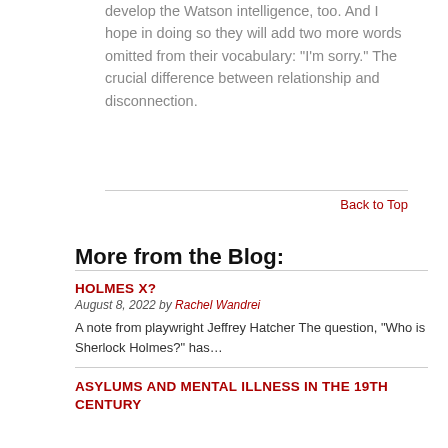develop the Watson intelligence, too. And I hope in doing so they will add two more words omitted from their vocabulary: “I’m sorry.”  The crucial difference between relationship and disconnection.
Back to Top
More from the Blog:
HOLMES X?
August 8, 2022 by Rachel Wandrei
A note from playwright Jeffrey Hatcher The question, “Who is Sherlock Holmes?” has…
ASYLUMS AND MENTAL ILLNESS IN THE 19TH CENTURY